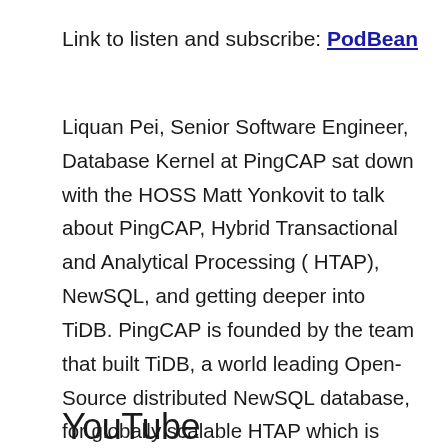Link to listen and subscribe: PodBean
Liquan Pei, Senior Software Engineer, Database Kernel at PingCAP sat down with the HOSS Matt Yonkovit to talk about PingCAP, Hybrid Transactional and Analytical Processing ( HTAP), NewSQL, and getting deeper into TiDB. PingCAP is founded by the team that built TiDB, a world leading Open-Source distributed NewSQL database, for globally scalable HTAP which is compatible with MySQL, and enables companies to painlessly scale their business while keeping the underlying infrastructure simple. .
YouTube